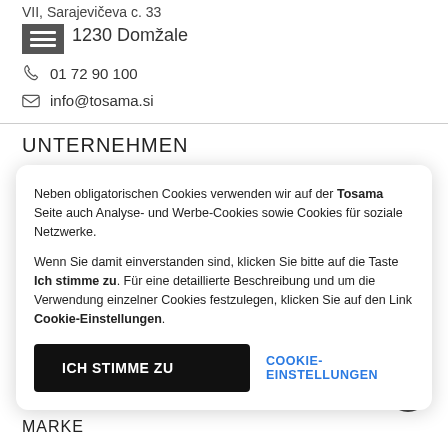VII, Sarajevičeva c. 33
1230 Domžale
01 72 90 100
info@tosama.si
UNTERNEHMEN
Neben obligatorischen Cookies verwenden wir auf der Tosama Seite auch Analyse- und Werbe-Cookies sowie Cookies für soziale Netzwerke.
Wenn Sie damit einverstanden sind, klicken Sie bitte auf die Taste Ich stimme zu. Für eine detaillierte Beschreibung und um die Verwendung einzelner Cookies festzulegen, klicken Sie auf den Link Cookie-Einstellungen.
ICH STIMME ZU
COOKIE-EINSTELLUNGEN
MARKE